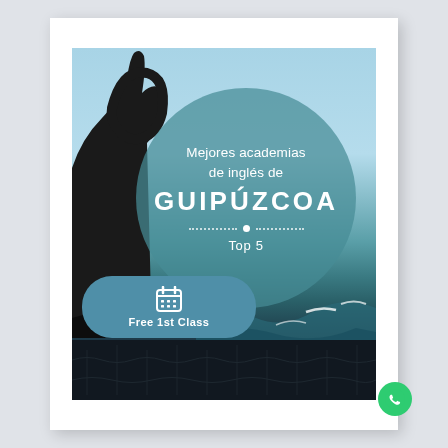[Figure (photo): Coastal scene with a dark iron sculpture silhouette on the left (Peine del Viento style), blue sky and sea in background, rocky shoreline with waves. A large semi-transparent teal circle overlaid in center contains text.]
Mejores academias de inglés de GUIPÚZCOA
Top 5
Free 1st Class